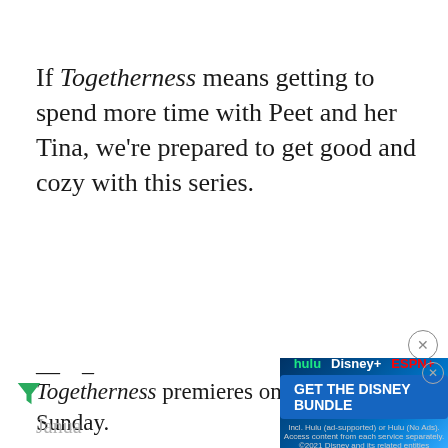If Togetherness means getting to spend more time with Peet and her Tina, we're prepared to get good and cozy with this series.
— –
Togetherness premieres on HBO this Sunday.
Janua...
[Figure (screenshot): Disney Bundle advertisement banner with Hulu, Disney+, and ESPN+ logos and a 'GET THE DISNEY BUNDLE' call-to-action button]